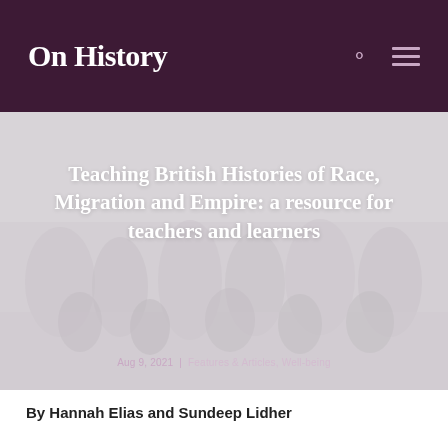On History
[Figure (photo): Faded historical black-and-white photograph showing a crowd scene, used as hero image background behind the article title]
Teaching British Histories of Race, Migration and Empire: a resource for teachers and learners
Aug 9, 2021 | Features & Articles, Well-being
By Hannah Elias and Sundeep Lidher